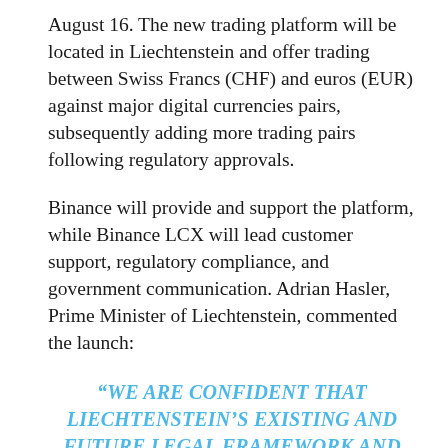August 16. The new trading platform will be located in Liechtenstein and offer trading between Swiss Francs (CHF) and euros (EUR) against major digital currencies pairs, subsequently adding more trading pairs following regulatory approvals.
Binance will provide and support the platform, while Binance LCX will lead customer support, regulatory compliance, and government communication. Adrian Hasler, Prime Minister of Liechtenstein, commented the launch:
“WE ARE CONFIDENT THAT LIECHTENSTEIN’S EXISTING AND FUTURE LEGAL FRAMEWORK AND PRACTICE PROVIDE A ROBUST FOUNDATION FOR